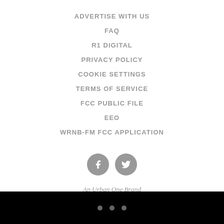ADVERTISE WITH US
FAQ
R1 DIGITAL
PRIVACY POLICY
COOKIE SETTINGS
TERMS OF SERVICE
FCC PUBLIC FILE
EEO
WRNB-FM FCC APPLICATION
[Figure (illustration): Social media icons: Facebook (f) and Twitter (bird) in grey circles]
An Urban One Brand
• • •